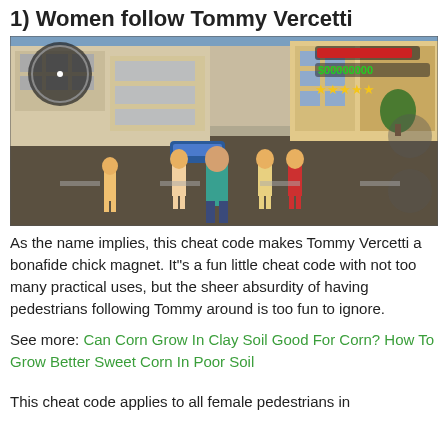1) Women follow Tommy Vercetti
[Figure (screenshot): Screenshot from GTA Vice City showing Tommy Vercetti surrounded by female pedestrians on a street, with game HUD visible in top corners.]
As the name implies, this cheat code makes Tommy Vercetti a bonafide chick magnet. It"s a fun little cheat code with not too many practical uses, but the sheer absurdity of having pedestrians following Tommy around is too fun to ignore.
See more: Can Corn Grow In Clay Soil Good For Corn? How To Grow Better Sweet Corn In Poor Soil
This cheat code applies to all female pedestrians in